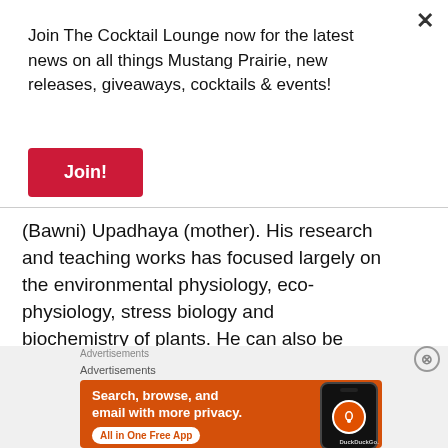Join The Cocktail Lounge now for the latest news on all things Mustang Prairie, new releases, giveaways, cocktails & events!
Join!
(Bawni) Upadhaya (mother). His research and teaching works has focused largely on the environmental physiology, eco-physiology, stress biology and biochemistry of plants. He can also be reached online at –
Advertisements
[Figure (screenshot): DuckDuckGo advertisement banner: orange background with text 'Search, browse, and email with more privacy. All in One Free App' and DuckDuckGo logo on a phone mockup]